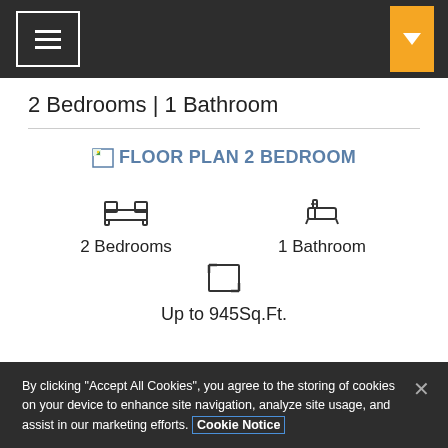Navigation bar with hamburger menu and orange dropdown button
2 Bedrooms | 1 Bathroom
[Figure (other): Broken image placeholder labeled FLOOR PLAN 2 BEDROOM]
2 Bedrooms
1 Bathroom
Up to 945Sq.Ft.
By clicking "Accept All Cookies", you agree to the storing of cookies on your device to enhance site navigation, analyze site usage, and assist in our marketing efforts. Cookie Notice